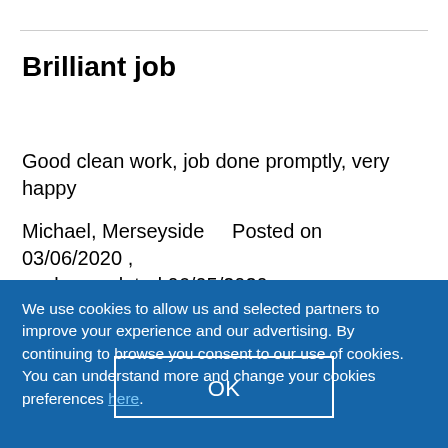Brilliant job
Good clean work, job done promptly, very happy
Michael, Merseyside    Posted on 03/06/2020 , work completed 06/05/2020
We use cookies to allow us and selected partners to improve your experience and our advertising. By continuing to browse you consent to our use of cookies. You can understand more and change your cookies preferences here.
OK